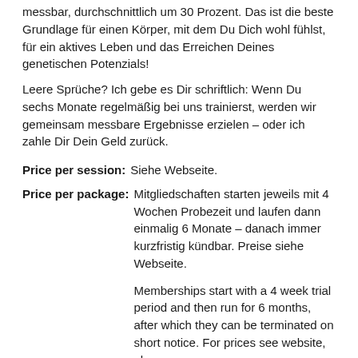messbar, durchschnittlich um 30 Prozent. Das ist die beste Grundlage für einen Körper, mit dem Du Dich wohl fühlst, für ein aktives Leben und das Erreichen Deines genetischen Potenzials!
Leere Sprüche? Ich gebe es Dir schriftlich: Wenn Du sechs Monate regelmäßig bei uns trainierst, werden wir gemeinsam messbare Ergebnisse erzielen – oder ich zahle Dir Dein Geld zurück.
Price per session: Siehe Webseite.
Price per package: Mitgliedschaften starten jeweils mit 4 Wochen Probezeit und laufen dann einmalig 6 Monate – danach immer kurzfristig kündbar. Preise siehe Webseite.

Memberships start with a 4 week trial period and then run for 6 months, after which they can be terminated on short notice. For prices see website, please.